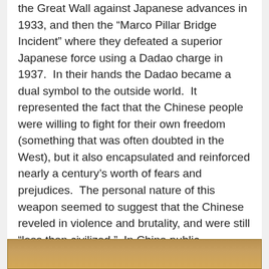the Great Wall against Japanese advances in 1933, and then the “Marco Pillar Bridge Incident” where they defeated a superior Japanese force using a Dadao charge in 1937.  In their hands the Dadao became a dual symbol to the outside world.  It represented the fact that the Chinese people were willing to fight for their own freedom (something that was often doubted in the West), but it also encapsulated and reinforced nearly a century’s worth of fears and prejudices.  The personal nature of this weapon seemed to suggest that the Chinese reveled in violence and brutality, and were still “less than civilized.”  In China public executions and the Dadao acted as a twin symbolic code for “political authority” and “legitimacy.” Unfortunately these symbols did not translate well in the more liberal west.
[Figure (photo): A partial view of what appears to be a historical photograph, showing a brownish/golden toned image at the bottom of the page.]